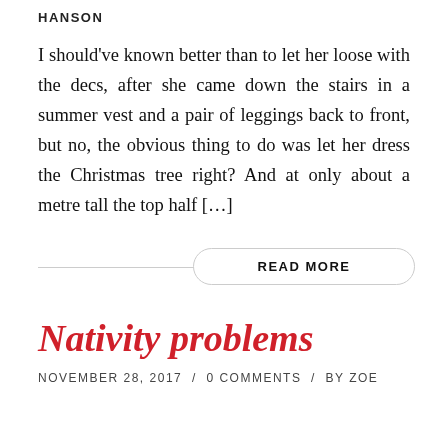HANSON
I should've known better than to let her loose with the decs, after she came down the stairs in a summer vest and a pair of leggings back to front, but no, the obvious thing to do was let her dress the Christmas tree right? And at only about a metre tall the top half […]
READ MORE
Nativity problems
NOVEMBER 28, 2017  /  0 COMMENTS  /  BY ZOE